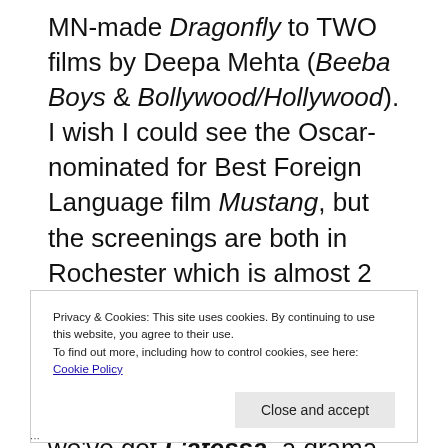MN-made Dragonfly to TWO films by Deepa Mehta (Beeba Boys & Bollywood/Hollywood). I wish I could see the Oscar-nominated for Best Foreign Language film Mustang, but the screenings are both in Rochester which is almost 2 hours away from where I live. It's tradition that I see one movie with Juliette Binoche at MSPIFF, and this year we've got L'atessa, a drama set in Sicily.
Privacy & Cookies: This site uses cookies. By continuing to use this website, you agree to their use.
To find out more, including how to control cookies, see here: Cookie Policy
...